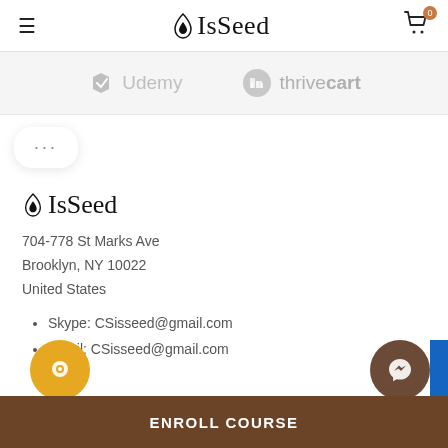IsSeed
[Figure (logo): Udemy and ThriveCart partner logos on grey background]
[Figure (other): Three dots card element]
[Figure (logo): IsSeed logo in footer section]
704-778 St Marks Ave
Brooklyn, NY 10022
United States
Skype: CSisseed@gmail.com
Email: CSisseed@gmail.com
ENROLL COURSE